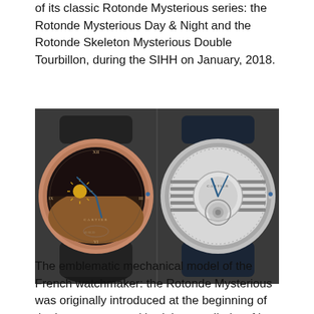of its classic Rotonde Mysterious series: the Rotonde Mysterious Day & Night and the Rotonde Skeleton Mysterious Double Tourbillon, during the SIHH on January, 2018.
[Figure (photo): Two Cartier Rotonde Mysterious watches side by side. Left: rose gold case with brown/black dial showing a day-night display with a sun motif and blue hands, Cartier branding, on dark grey alligator strap. Right: white/silver case with skeleton dial showing a tourbillon movement through the open framework, blue hands, Cartier branding, on dark blue alligator strap.]
The emblematic mechanical model of the French watchmaker: the Rotonde Mysterious was originally introduced at the beginning of the last century, and had the peculiarity of its hands being included in rotating